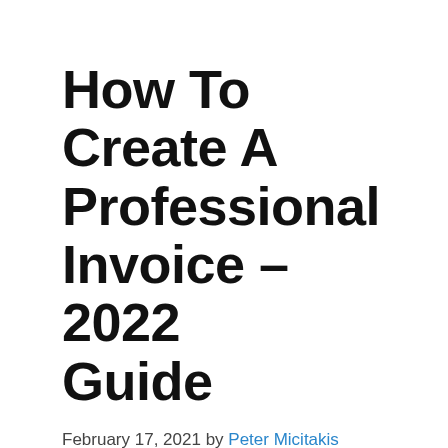How To Create A Professional Invoice – 2022 Guide
February 17, 2021 by Peter Micitakis
When you create a company and sell products or services to your customers, you usually don't receive the money right on the spot. To get your payment, you will need to